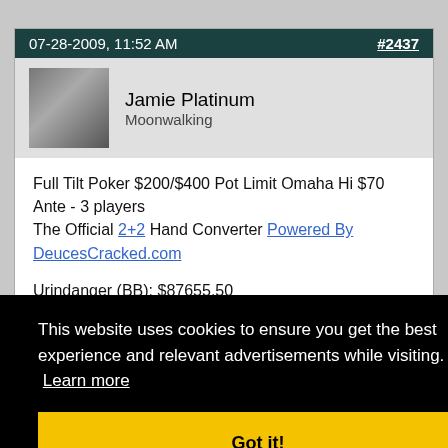07-28-2009, 11:52 AM   #2437
Jamie Platinum
Moonwalking
Full Tilt Poker $200/$400 Pot Limit Omaha Hi $70 Ante - 3 players
The Official 2+2 Hand Converter Powered By DeucesCracked.com
Urindanger (BB): $87655.50
This website uses cookies to ensure you get the best experience and relevant advertisements while visiting. Learn more
Got it!